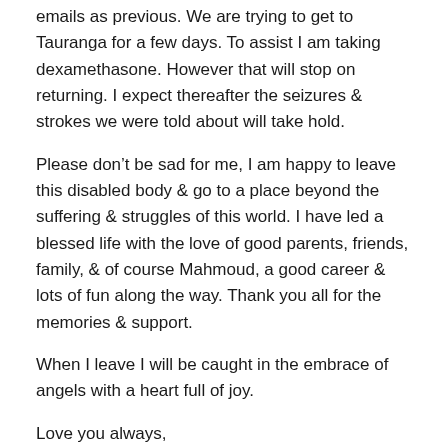emails as previous. We are trying to get to Tauranga for a few days.  To assist I am taking dexamethasone.  However that will stop on returning. I expect thereafter the seizures & strokes we were told about will take hold.
Please don’t be sad for me, I am happy to leave this disabled body & go to a place beyond the suffering & struggles of this world.  I have led a blessed life with the love of good parents, friends, family, & of course Mahmoud, a good career & lots of fun along the way. Thank you all for the memories & support.
When I leave I will be caught in the embrace of angels with a heart full of joy.
Love you always,
Susan xx